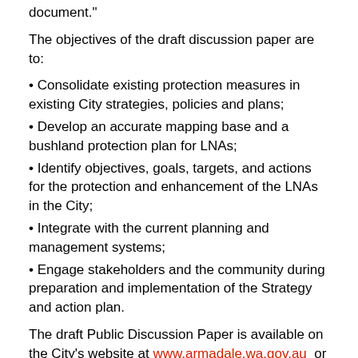document."
The objectives of the draft discussion paper are to:
• Consolidate existing protection measures in existing City strategies, policies and plans;
• Develop an accurate mapping base and a bushland protection plan for LNAs;
• Identify objectives, goals, targets, and actions for the protection and enhancement of the LNAs in the City;
• Integrate with the current planning and management systems;
• Engage stakeholders and the community during preparation and implementation of the Strategy and action plan.
The draft Public Discussion Paper is available on the City's website at www.armadale.wa.gov.au or by contacting the City's Environmental Officer, Ms Paula Haro, by telephone on 9399 0111 or by email at info@armadale.wa.gov.au
Submissions should be provided in writing, addressed to the Chief Executive Officer, City of Armadale, by hand P...